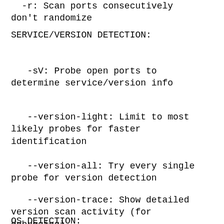-r: Scan ports consecutively don't randomize
SERVICE/VERSION DETECTION:
-sV: Probe open ports to determine service/version info
--version-light: Limit to most likely probes for faster identification
--version-all: Try every single probe for version detection
--version-trace: Show detailed version scan activity (for debugging)
OS DETECTION: